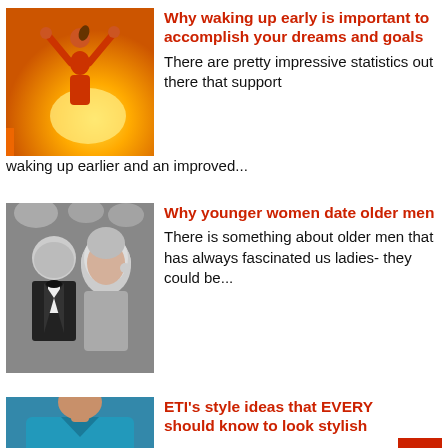[Figure (photo): Woman with arms raised in victory against bright sunlight background]
Why waking up early is important to accomplish your dreams and goals
There are pretty impressive statistics out there that support waking up earlier and an improved...
[Figure (photo): Black and white photo of a man in tuxedo and a woman with long blonde hair]
Why younger women date older men
There is something about older men that has always fascinated us ladies- they could be...
[Figure (photo): Person in teal shirt, partially visible]
ETI's style ideas that EVERY should know to look stylish